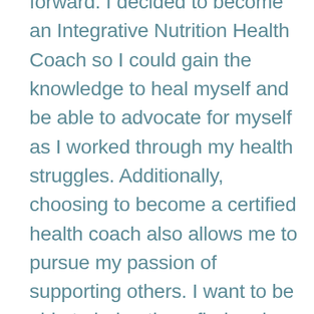forward. I decided to become an Integrative Nutrition Health Coach so I could gain the knowledge to heal myself and be able to advocate for myself as I worked through my health struggles. Additionally, choosing to become a certified health coach also allows me to pursue my passion of supporting others. I want to be able to help others find and define their best health and wellness. I am living proof that it is possible to recover a broken relationship with food, with our bodies, and to steer the path of our lifelong health journey.